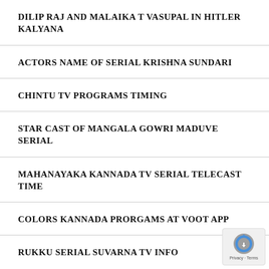DILIP RAJ AND MALAIKA T VASUPAL IN HITLER KALYANA
ACTORS NAME OF SERIAL KRISHNA SUNDARI
CHINTU TV PROGRAMS TIMING
STAR CAST OF MANGALA GOWRI MADUVE SERIAL
MAHANAYAKA KANNADA TV SERIAL TELECAST TIME
COLORS KANNADA PRORGAMS AT VOOT APP
RUKKU SERIAL SUVARNA TV INFO